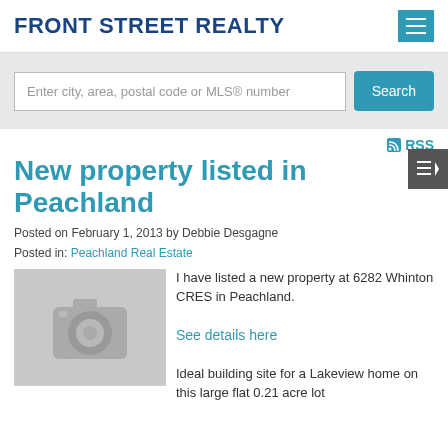FRONT STREET REALTY
Enter city, area, postal code or MLS® number
Search
RSS
New property listed in Peachland
Posted on February 1, 2013 by Debbie Desgagne
Posted in: Peachland Real Estate
[Figure (photo): Placeholder camera icon image]
I have listed a new property at 6282 Whinton CRES in Peachland.
See details here
Ideal building site for a Lakeview home on this large flat 0.21 acre lot